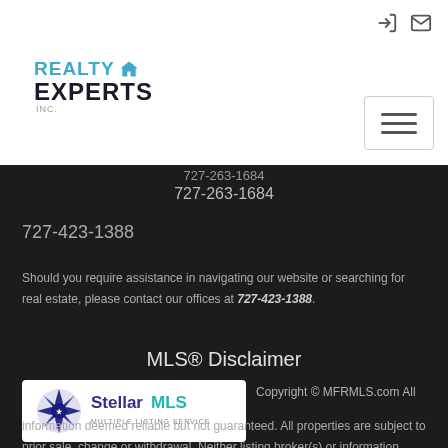[Figure (logo): Realty Experts Inc. logo with house icon, blue and dark text]
727-263-1684
727-423-1388
Should you require assistance in navigating our website or searching for real estate, please contact our offices at 727-423-1388.
MLS® Disclaimer
[Figure (logo): Stellar MLS logo with starburst icon in blue/purple, text 'Stellar MLS']
Copyright © MFRMLS.com All information deemed reliable but not guaranteed. All properties are subject to prior sale, change or withdrawal. Neither listing broker(s) or information provider(s) shall be responsible for any